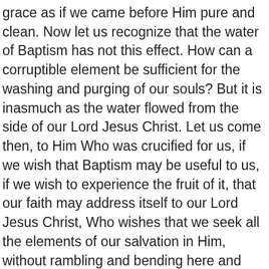grace as if we came before Him pure and clean. Now let us recognize that the water of Baptism has not this effect. How can a corruptible element be sufficient for the washing and purging of our souls? But it is inasmuch as the water flowed from the side of our Lord Jesus Christ. Let us come then, to Him Who was crucified for us, if we wish that Baptism may be useful to us, if we wish to experience the fruit of it, that our faith may address itself to our Lord Jesus Christ, Who wishes that we seek all the elements of our salvation in Him, without rambling and bending here and there. And then in the Holy Supper we have testimony that Jesus Christ is our Food. And under the bread He presents to us His body, under the wine His blood. This, then, is the full perfection of salvation, when we are thus purified, and God accepts us as if we had only integrity and righteousness in us: and so we are acquitted before Him of being any longer blameworthy, since our Lord Jesus Christ has fully satisfied for us. That, then, is how we